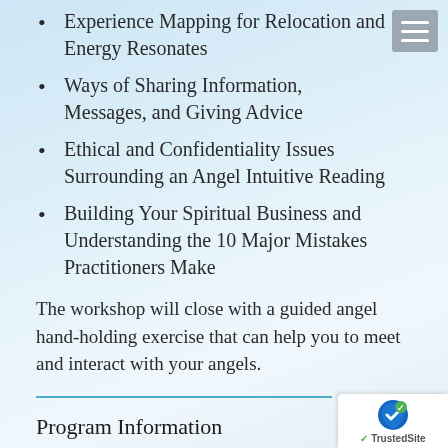Experience Mapping for Relocation and Energy Resonates
Ways of Sharing Information, Messages, and Giving Advice
Ethical and Confidentiality Issues Surrounding an Angel Intuitive Reading
Building Your Spiritual Business and Understanding the 10 Major Mistakes Practitioners Make
The workshop will close with a guided angel hand-holding exercise that can help you to meet and interact with your angels.
Program Information
Requirements for Certification
At the completion of the course, you will be required